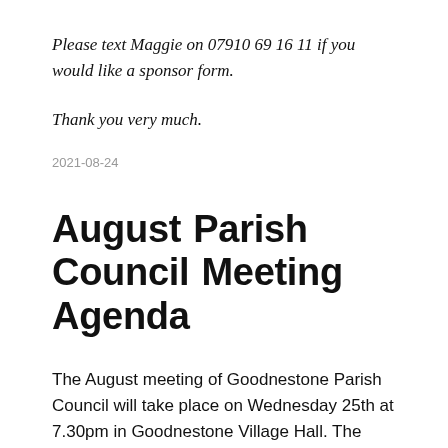Please text Maggie on 07910 69 16 11 if you would like a sponsor form.
Thank you very much.
2021-08-24
August Parish Council Meeting Agenda
The August meeting of Goodnestone Parish Council will take place on Wednesday 25th at 7.30pm in Goodnestone Village Hall. The agenda is available on this website on the